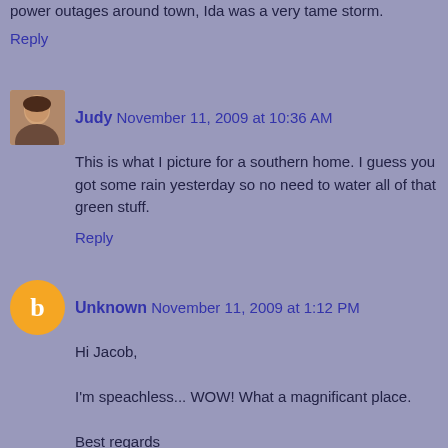power outages around town, Ida was a very tame storm.
Reply
Judy  November 11, 2009 at 10:36 AM
This is what I picture for a southern home. I guess you got some rain yesterday so no need to water all of that green stuff.
Reply
Unknown  November 11, 2009 at 1:12 PM
Hi Jacob,

I'm speachless... WOW! What a magnificant place.

Best regards
Asta
Reply